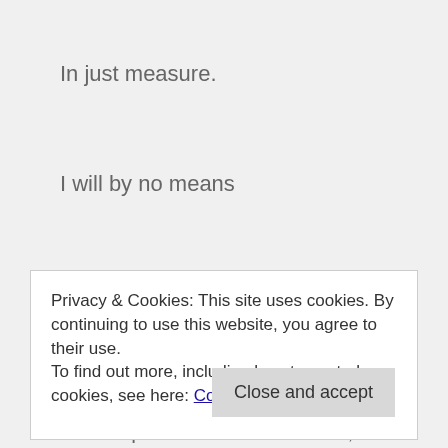In just measure.
I will by no means
Leave you unpunished."'
This passage is almost word for word like chapter 30: 11-12. Yahweh, via Jeremiah, said that Israel or Jacob did not have to fear or be dismayed. Yahweh
Privacy & Cookies: This site uses cookies. By continuing to use this website, you agree to their use.
To find out more, including how to control cookies, see here: Cookie Policy
Close and accept